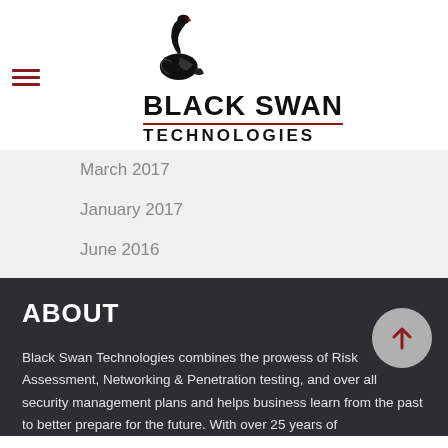[Figure (logo): Black Swan Technologies logo with swan icon and company name]
March 2017
January 2017
June 2016
ABOUT
Black Swan Technologies combines the prowess of Risk Assessment, Networking & Penetration testing, and over all security management plans and helps business learn from the past to better prepare for the future. With over 25 years of